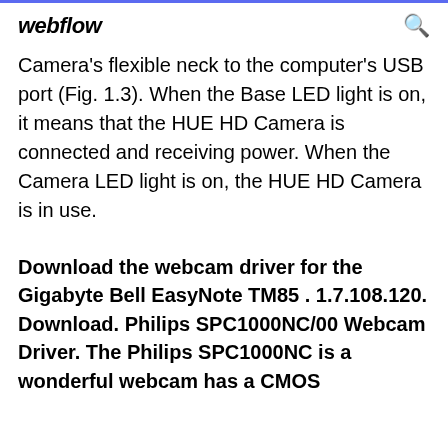webflow
Camera's flexible neck to the computer's USB port (Fig. 1.3). When the Base LED light is on, it means that the HUE HD Camera is connected and receiving power. When the Camera LED light is on, the HUE HD Camera is in use.
Download the webcam driver for the Gigabyte Bell EasyNote TM85 . 1.7.108.120. Download. Philips SPC1000NC/00 Webcam Driver. The Philips SPC1000NC is a wonderful webcam has a CMOS